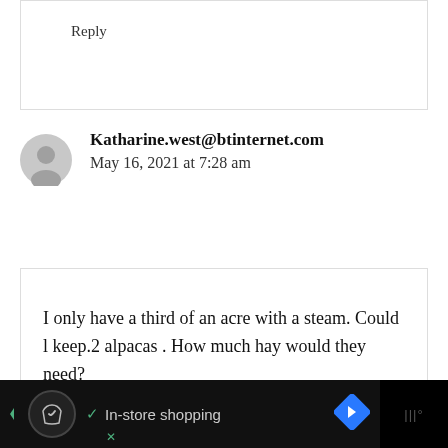Reply
Katharine.west@btinternet.com
May 16, 2021 at 7:28 am
I only have a third of an acre with a steam. Could l keep.2 alpacas . How much hay would they need?
[Figure (other): Ad bar at bottom with dark background showing shopping icons and 'In-store shopping' text]